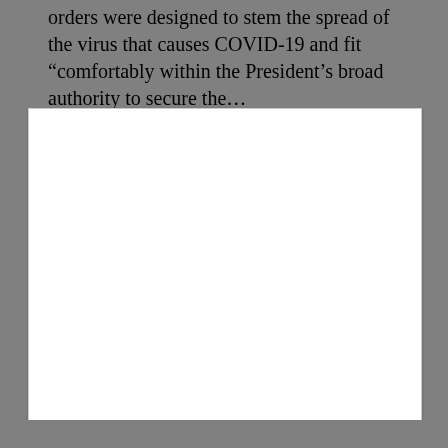orders were designed to stem the spread of the virus that causes COVID-19 and fit “comfortably within the President’s broad authority to secure the…
[Figure (other): Large white rectangular box/panel, mostly blank, appearing to be a page or document insert area within a gray background.]